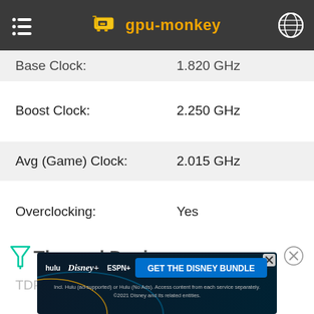gpu-monkey
Base Clock: 1.820 GHz
Boost Clock: 2.250 GHz
Avg (Game) Clock: 2.015 GHz
Overclocking: Yes
Thermal Design
TDP:
[Figure (screenshot): Disney Bundle advertisement banner: hulu, Disney+, ESPN+, GET THE DISNEY BUNDLE. Incl. Hulu (ad-supported) or Hulu (No Ads). Access content from each service separately. ©2021 Disney and its related entities.]